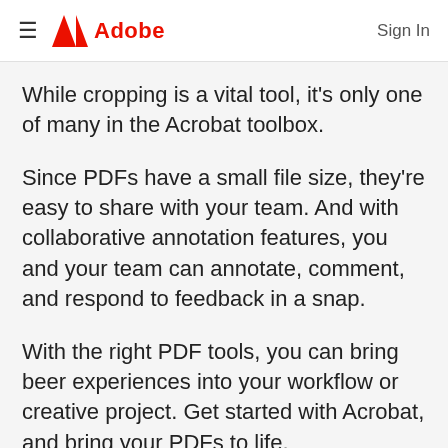Adobe  Sign In
While cropping is a vital tool, it's only one of many in the Acrobat toolbox.
Since PDFs have a small file size, they're easy to share with your team. And with collaborative annotation features, you and your team can annotate, comment, and respond to feedback in a snap.
With the right PDF tools, you can bring beer experiences into your workflow or creative project. Get started with Acrobat, and bring your PDFs to life.